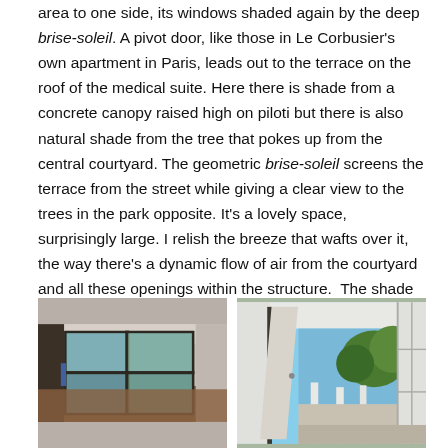area to one side, its windows shaded again by the deep brise-soleil. A pivot door, like those in Le Corbusier's own apartment in Paris, leads out to the terrace on the roof of the medical suite. Here there is shade from a concrete canopy raised high on piloti but there is also natural shade from the tree that pokes up from the central courtyard. The geometric brise-soleil screens the terrace from the street while giving a clear view to the trees in the park opposite. It's a lovely space, surprisingly large. I relish the breeze that wafts over it, the way there's a dynamic flow of air from the courtyard and all these openings within the structure.  The shade from the tree is delicious.
[Figure (photo): Interior view of a modernist building with large glass pivot doors and windows, dark floor, white walls with blue accents, showing view through to exterior]
[Figure (photo): View from interior to exterior through open pivot door, showing terrace with white piloti columns and green trees beyond under blue sky]